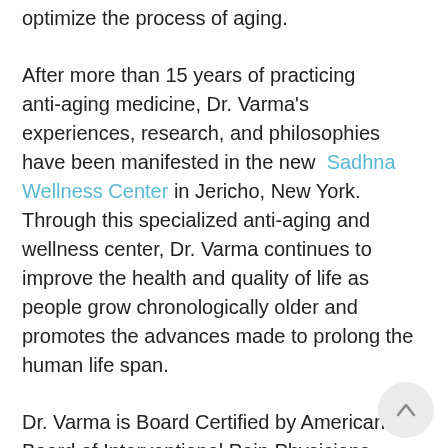optimize the process of aging.
After more than 15 years of practicing anti-aging medicine, Dr. Varma's experiences, research, and philosophies have been manifested in the new Sadhna Wellness Center in Jericho, New York. Through this specialized anti-aging and wellness center, Dr. Varma continues to improve the health and quality of life as people grow chronologically older and promotes the advances made to prolong the human life span.
Dr. Varma is Board Certified by American Board of Interventional Pain Physicians (ABIPP), American Academy of Anti-